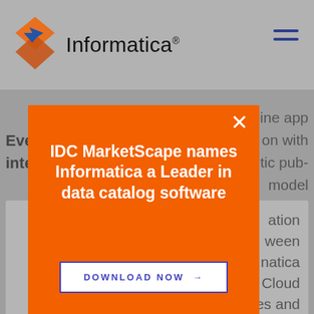Informatica
[Figure (screenshot): Informatica website screenshot with an orange modal popup. The modal reads: IDC MarketScape names Informatica a Leader in data catalog software. DOWNLOAD NOW →. Background shows partial text about event-driven integration and PowerCenter. A hamburger menu icon appears in the top right.]